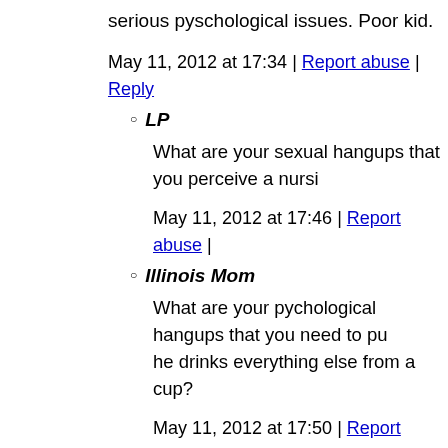serious pyschological issues. Poor kid.
May 11, 2012 at 17:34 | Report abuse | Reply
LP
What are your sexual hangups that you perceive a nursing...
May 11, 2012 at 17:46 | Report abuse |
Illinois Mom
What are your pychological hangups that you need to pu... he drinks everything else from a cup?
May 11, 2012 at 17:50 | Report abuse |
LP
Why judge? It works for them in their famiy....your disc... even made you a formula feeder....what a shame that peo... breastfeeding. It all stems from insecurity.
May 11, 2012 at 17:54 | Report abuse |
Illinois Mom
You ask me why judge, but then you go on a judgementa... typical! I have absolutely no problem with breasts or bre... natural and very healthy for the child and mother. Additi...